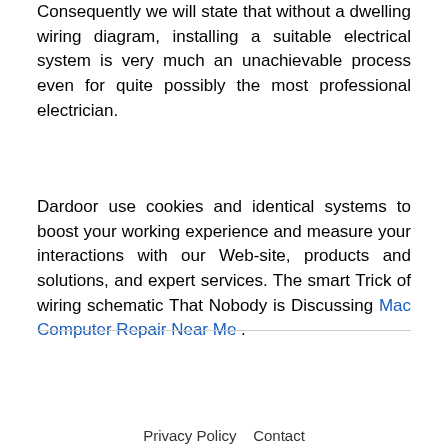Consequently we will state that without a dwelling wiring diagram, installing a suitable electrical system is very much an unachievable process even for quite possibly the most professional electrician.
Dardoor use cookies and identical systems to boost your working experience and measure your interactions with our Web-site, products and solutions, and expert services. The smart Trick of wiring schematic That Nobody is Discussing Mac Computer Repair Near Me .
Privacy Policy Contact